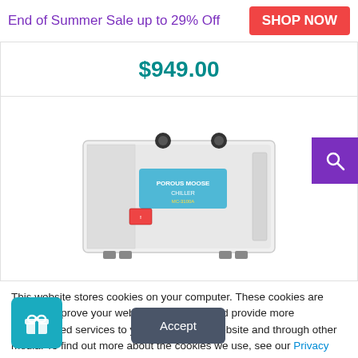End of Summer Sale up to 29% Off
SHOP NOW
$949.00
[Figure (photo): White industrial chiller/cooling unit with blue logo label, two black hose fittings on top, on a white background]
This website stores cookies on your computer. These cookies are used to improve your website experience and provide more personalized services to you, both on this website and through other media. To find out more about the cookies we use, see our Privacy Policy.
Accept